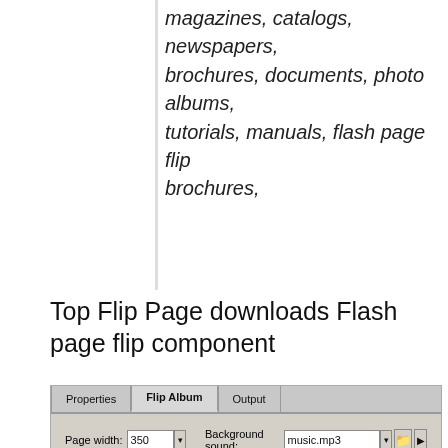magazines, catalogs, newspapers, brochures, documents, photo albums, tutorials, manuals, flash page flip brochures,
Top Flip Page downloads Flash page flip component
[Figure (screenshot): Software UI screenshot showing Properties/Flip Album/Output tabs with fields for Page width (350), Page height (500), Background sound (music.mp3), Loop checkbox, and Create index page checkbox]
Flash XML Page Flip FX. Flip book software is of great help in creating, sharing and viewing stunning pdf flipping book or page flip flash with page-turning effect from PDF, Office files,